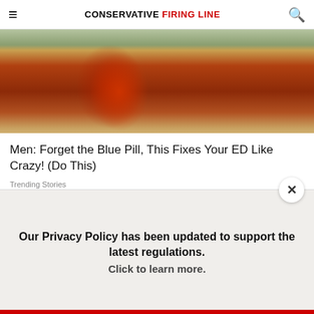CONSERVATIVE FIRING LINE
[Figure (photo): Close-up photo of a jar with a red and yellow label, partially visible, on a wooden surface with a white dish in background]
Men: Forget the Blue Pill, This Fixes Your ED Like Crazy! (Do This)
Trending Stories
[Figure (photo): Close-up side profile photo of a bald man's head showing his ear and a small mark on his scalp, with a gray/green background]
Our Privacy Policy has been updated to support the latest regulations. Click to learn more.